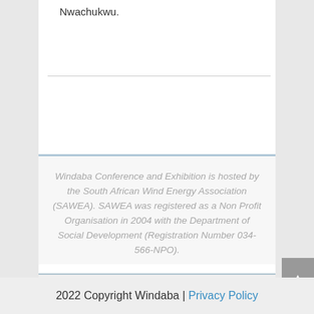Nwachukwu.
Windaba Conference and Exhibition is hosted by the South African Wind Energy Association (SAWEA). SAWEA was registered as a Non Profit Organisation in 2004 with the Department of Social Development (Registration Number 034-566-NPO).
2022 Copyright Windaba | Privacy Policy